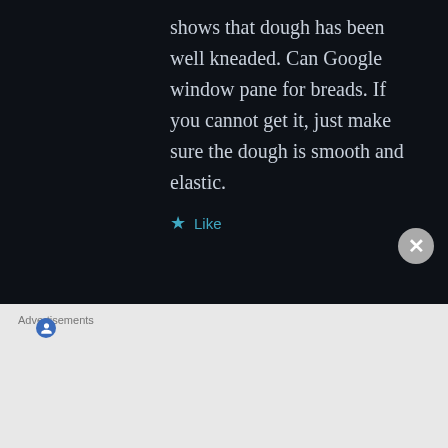shows that dough has been well kneaded. Can Google window pane for breads. If you cannot get it, just make sure the dough is smooth and elastic.
★ Like
JOANNA says: October 7, 2021 at 4:50 pm
Hi, may I know if this recipe can be used to bake a loaf
Advertisements